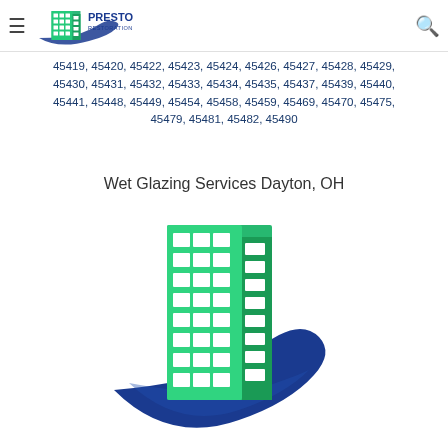Presto Restoration
45419, 45420, 45422, 45423, 45424, 45426, 45427, 45428, 45429, 45430, 45431, 45432, 45433, 45434, 45435, 45437, 45439, 45440, 45441, 45448, 45449, 45454, 45458, 45459, 45469, 45470, 45475, 45479, 45481, 45482, 45490
Wet Glazing Services Dayton, OH
[Figure (logo): Presto Restoration logo — green multi-story building with glass windows and a blue swoosh arc beneath it]